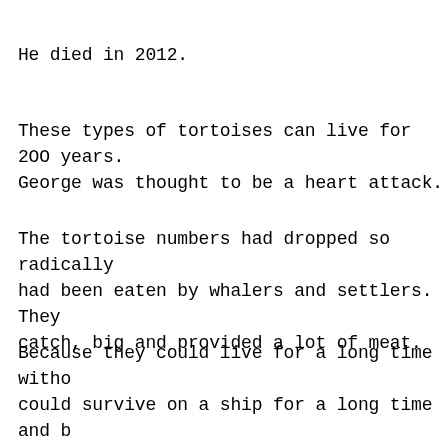He died in 2012.
These types of tortoises can live for 200 years. The cause of death of George was thought to be a heart attack.
The tortoise numbers had dropped so radically because they had been eaten by whalers and settlers. They were easy to catch, big and provided a lot of meat.
Because they could live for a long time without food, they could survive on a ship for a long time and be used as meat for the whalers.